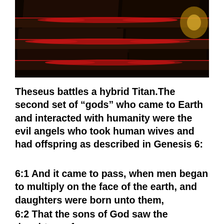[Figure (photo): Dark photograph showing what appears to be black coffins or shelves with red flower petals (roses) arranged on them, with a warm light source visible at upper right. The scene is very dark with dramatic lighting.]
Theseus battles a hybrid Titan.The second set of “gods” who came to Earth and interacted with humanity were the evil angels who took human wives and had offspring as described in Genesis 6:
6:1 And it came to pass, when men began to multiply on the face of the earth, and daughters were born unto them,
6:2 That the sons of God saw the daughters of men